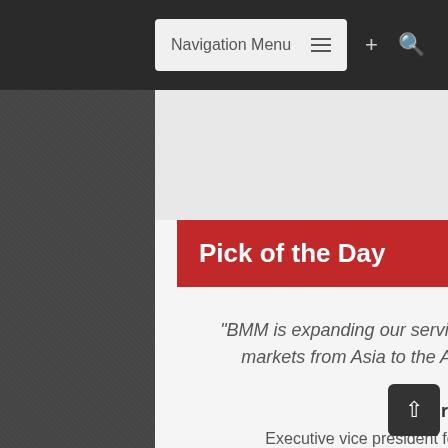Navigation Menu
Pick of the Day
“BMM is expanding our service offering for all global regulated markets from Asia to the Americas, Europe, and beyond”
Kirk White
Executive vice president for Asia Pacific at BMM Testlabs
[Figure (photo): TKHS logo or image with orange background and white bold text reading TKHS]